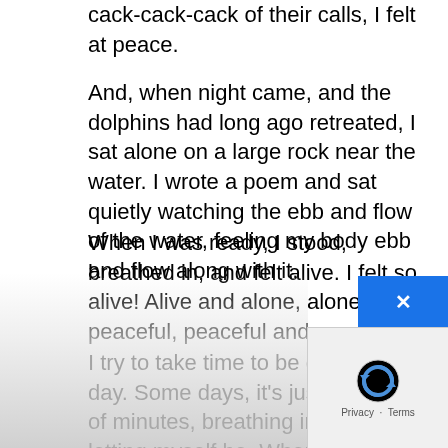cack-cack-cack of their calls, I felt at peace.
And, when night came, and the dolphins had long ago retreated, I sat alone on a large rock near the water. I wrote a poem and sat quietly watching the ebb and flow of the water, feeling my body ebb and flow along with it.
When I was ready, I stood, breathed in, and felt alive. I felt so alive! Alive and alone, alone and peaceful, peaceful and sacred.
I try to take time to be quiet every day. Some days, it's just a couple of minutes, breathing in and out, letting myself be. When time permits, I sit by the river. It's these days when I feel most at peace. It's these days when I feel more quiet, more connected. I let myself be at peace near the water, at peace in the